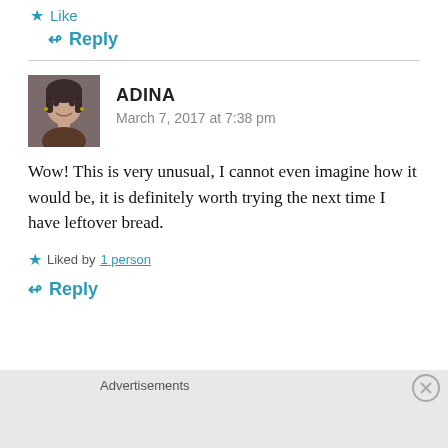★ Like
↳ Reply
[Figure (photo): Avatar photo of commenter Adina, a woman with dark hair]
ADINA
March 7, 2017 at 7:38 pm
Wow! This is very unusual, I cannot even imagine how it would be, it is definitely worth trying the next time I have leftover bread.
★ Liked by 1 person
↳ Reply
Advertisements